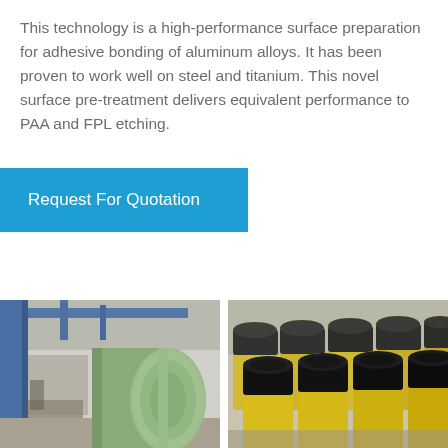This technology is a high-performance surface preparation for adhesive bonding of aluminum alloys. It has been proven to work well on steel and titanium. This novel surface pre-treatment delivers equivalent performance to PAA and FPL etching.
Request For Quotation
[Figure (photo): Industrial photo showing a large green cylinder/roll in a factory setting with blue structural beams and equipment in background]
[Figure (photo): Industrial photo showing multiple black and yellow cylindrical containers/drums arranged in rows on a surface]